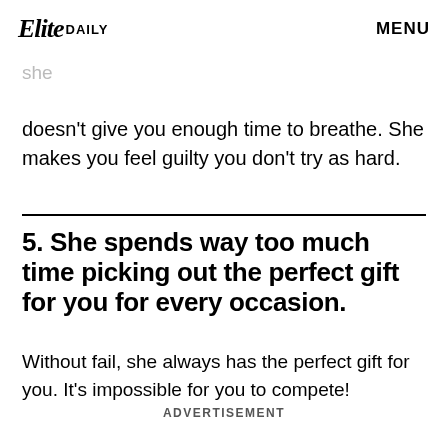Elite Daily | MENU
adventures. She's spontaneous and somewhat unpredictable. You never get bored because she doesn't give you enough time to breathe. She makes you feel guilty you don't try as hard.
5. She spends way too much time picking out the perfect gift for you for every occasion.
Without fail, she always has the perfect gift for you. It's impossible for you to compete!
ADVERTISEMENT